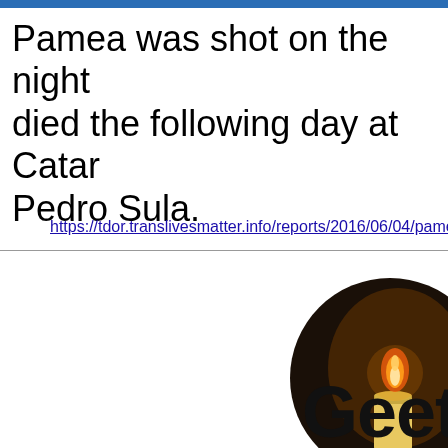Pamea was shot on the night died the following day at Catar Pedro Sula.
https://tdor.translivesmatter.info/reports/2016/06/04/pamela-ma
[Figure (photo): Circular photo of a lit candle with flame against a dark background]
Geet